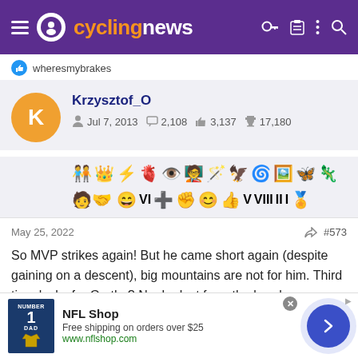cyclingnews
wheresmybrakes
Krzysztof_O  Jul 7, 2013  2,108  3,137  17,180
[Figure (other): User badge/achievement icons row]
May 25, 2022  #573
So MVP strikes again! But he came short again (despite gaining on a descent), big mountains are not for him. Third time lucky for Carthy? No, he lost from the breakaway again, for the 3rd consecutive mountain stage. Great finish by Buitrago, after Sunday's 2nd he's the
[Figure (other): NFL Shop advertisement banner with jersey image, free shipping offer, and navigation arrow]